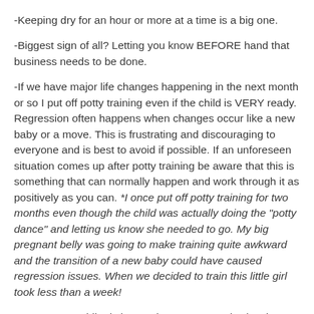-Keeping dry for an hour or more at a time is a big one.
-Biggest sign of all?  Letting you know BEFORE hand that business needs to be done.
-If we have major life changes happening in the next month or so I put off potty training even if the child is VERY ready.  Regression often happens when changes occur like a new baby or a move.  This is frustrating and discouraging to everyone and is best to avoid if possible.  If an unforeseen situation comes up after potty training be aware that this is something that can normally happen and work through it as positively as you can.  *I once put off potty training for two months even though the child was actually doing the "potty dance" and letting us know she needed to go.  My big pregnant belly was going to make training quite awkward and the transition of a new baby could have caused regression issues.  When we decided to train this little girl took less than a week!
*My current toddler is just under 2 years.  He is showing